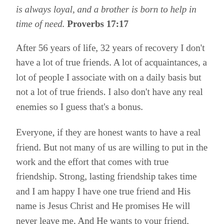is always loyal, and a brother is born to help in time of need. Proverbs 17:17
After 56 years of life, 32 years of recovery I don't have a lot of true friends. A lot of acquaintances, a lot of people I associate with on a daily basis but not a lot of true friends. I also don't have any real enemies so I guess that's a bonus.
Everyone, if they are honest wants to have a real friend. But not many of us are willing to put in the work and the effort that comes with true friendship. Strong, lasting friendship takes time and I am happy I have one true friend and His name is Jesus Christ and He promises He will never leave me. And He wants to your friend, Hebrews 13:5